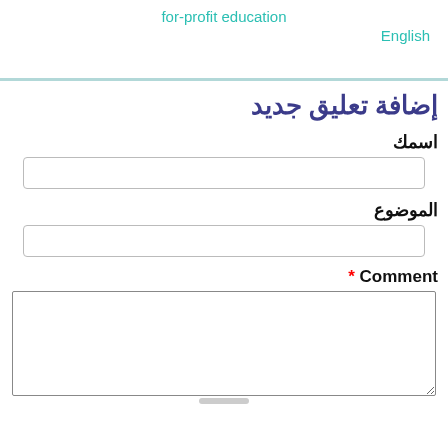for-profit education
English
إضافة تعليق جديد
اسمك
الموضوع
* Comment